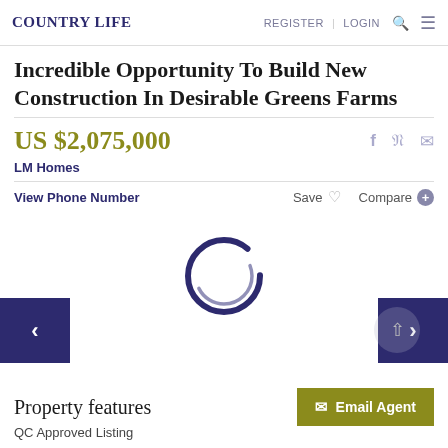COUNTRY LIFE | REGISTER | LOGIN
Incredible Opportunity To Build New Construction In Desirable Greens Farms
US $2,075,000
LM Homes
View Phone Number
Save   Compare
[Figure (other): Loading spinner circle animation]
Property features
QC Approved Listing
Email Agent